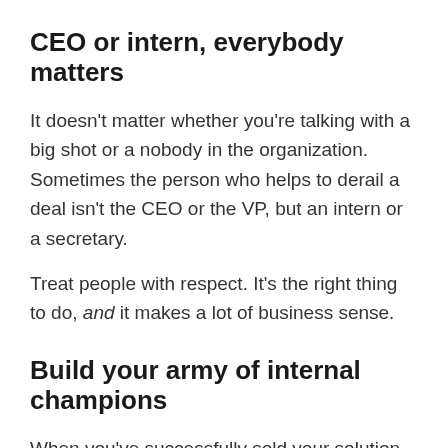CEO or intern, everybody matters
It doesn't matter whether you're talking with a big shot or a nobody in the organization. Sometimes the person who helps to derail a deal isn't the CEO or the VP, but an intern or a secretary.
Treat people with respect. It's the right thing to do, and it makes a lot of business sense.
Build your army of internal champions
When you've successfully sold your solution to